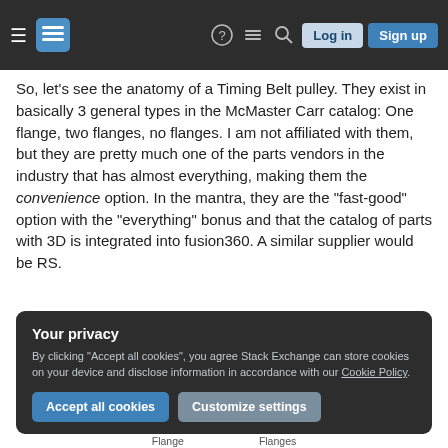Stack Exchange navigation bar with hamburger menu, logo, help, chat, search icons, Log in and Sign up buttons
So, let's see the anatomy of a Timing Belt pulley. They exist in basically 3 general types in the McMaster Carr catalog: One flange, two flanges, no flanges. I am not affiliated with them, but they are pretty much one of the parts vendors in the industry that has almost everything, making them the convenience option. In the mantra, they are the "fast-good" option with the "everything" bonus and that the catalog of parts with 3D is integrated into fusion360. A similar supplier would be RS.
Your privacy
By clicking "Accept all cookies", you agree Stack Exchange can store cookies on your device and disclose information in accordance with our Cookie Policy.
Accept all cookies   Customize settings
Flange   Flanges